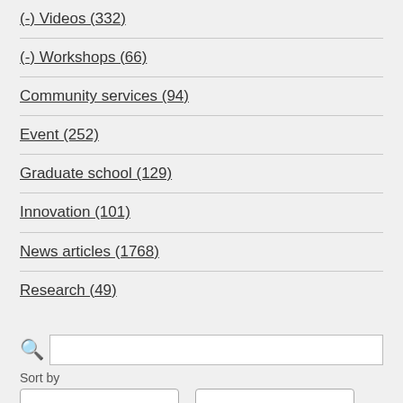(-) Videos (332)
(-) Workshops (66)
Community services (94)
Event (252)
Graduate school (129)
Innovation (101)
News articles (1768)
Research (49)
Sort by